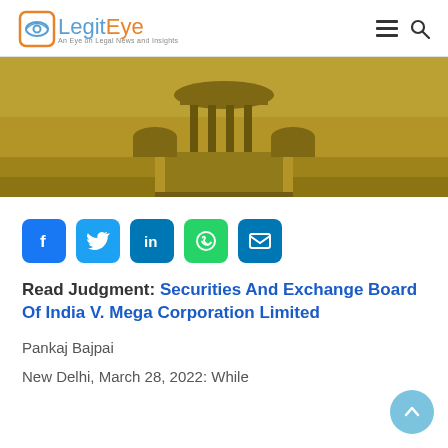LegitEye — An Eye on Legal News and Insights
[Figure (photo): Photograph of the Supreme Court of India building with golden/sepia tint overlay]
[Figure (infographic): Social media share buttons: Facebook, Twitter, LinkedIn, WhatsApp, Email]
Read Judgment: Securities And Exchange Board Of India V. Mega Corporation Limited
Pankaj Bajpai
New Delhi, March 28, 2022: While